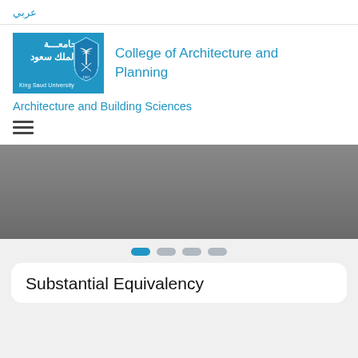عربي
[Figure (logo): King Saud University logo — blue rectangle with Arabic text جامعة الملك سعود, King Saud University in English, and shield emblem]
College of Architecture and Planning
Architecture and Building Sciences
[Figure (screenshot): Gray banner/slider image area]
[Figure (infographic): Carousel dots: one active blue dot and three inactive gray dots]
Substantial Equivalency